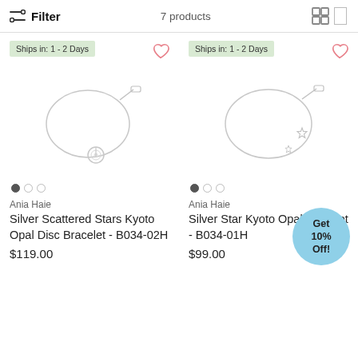Filter   7 products
[Figure (photo): Silver Scattered Stars Kyoto Opal Disc Bracelet product photo - a silver chain bracelet with an opal disc charm]
Ania Haie
Silver Scattered Stars Kyoto Opal Disc Bracelet - B034-02H
$119.00
[Figure (photo): Silver Star Kyoto Opal Bracelet product photo - a silver chain bracelet with small star charms]
Ania Haie
Silver Star Kyoto Opal Bracelet - B034-01H
$99.00